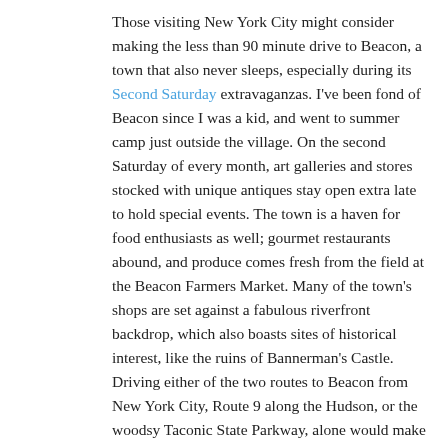Those visiting New York City might consider making the less than 90 minute drive to Beacon, a town that also never sleeps, especially during its Second Saturday extravaganzas. I've been fond of Beacon since I was a kid, and went to summer camp just outside the village. On the second Saturday of every month, art galleries and stores stocked with unique antiques stay open extra late to hold special events. The town is a haven for food enthusiasts as well; gourmet restaurants abound, and produce comes fresh from the field at the Beacon Farmers Market. Many of the town's shops are set against a fabulous riverfront backdrop, which also boasts sites of historical interest, like the ruins of Bannerman's Castle. Driving either of the two routes to Beacon from New York City, Route 9 along the Hudson, or the woodsy Taconic State Parkway, alone would make the trip worthwhile.